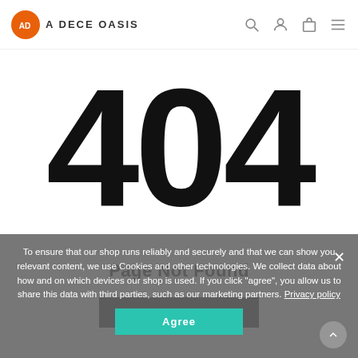[Figure (logo): A Dece Oasis logo: orange circle with stylized AD monogram, followed by text 'A DECE OASIS']
[Figure (screenshot): Navigation icons: search (magnifier), user (person outline), cart (bag outline), hamburger menu]
404
Page Not Found
Back Home →
To ensure that our shop runs reliably and securely and that we can show you relevant content, we use Cookies and other technologies. We collect data about how and on which devices our shop is used. If you click "agree", you allow us to share this data with third parties, such as our marketing partners. Privacy policy
Agree